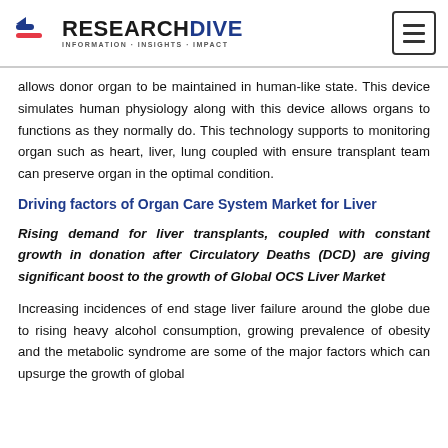RESEARCH DIVE — INFORMATION-INSIGHTS-IMPACT
allows donor organ to be maintained in human-like state. This device simulates human physiology along with this device allows organs to functions as they normally do. This technology supports to monitoring organ such as heart, liver, lung coupled with ensure transplant team can preserve organ in the optimal condition.
Driving factors of Organ Care System Market for Liver
Rising demand for liver transplants, coupled with constant growth in donation after Circulatory Deaths (DCD) are giving significant boost to the growth of Global OCS Liver Market
Increasing incidences of end stage liver failure around the globe due to rising heavy alcohol consumption, growing prevalence of obesity and the metabolic syndrome are some of the major factors which can upsurge the growth of global